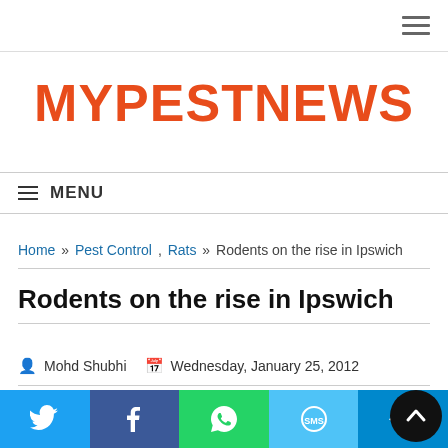MYPESTNEWS
≡ MENU
Home » Pest Control , Rats » Rodents on the rise in Ipswich
Rodents on the rise in Ipswich
Mohd Shubhi   Wednesday, January 25, 2012
WITH rats breeding up in
[Figure (photo): Photo of a building structure with rats, and a person in background]
Twitter  Facebook  WhatsApp  SMS  Telegram